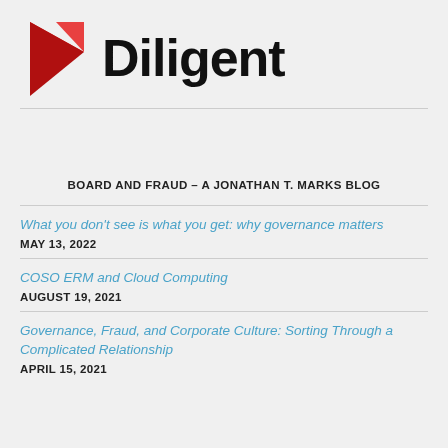[Figure (logo): Diligent logo: red/dark-red geometric D shape on the left, bold black 'Diligent' text on the right]
BOARD AND FRAUD – A JONATHAN T. MARKS BLOG
What you don't see is what you get: why governance matters
MAY 13, 2022
COSO ERM and Cloud Computing
AUGUST 19, 2021
Governance, Fraud, and Corporate Culture: Sorting Through a Complicated Relationship
APRIL 15, 2021